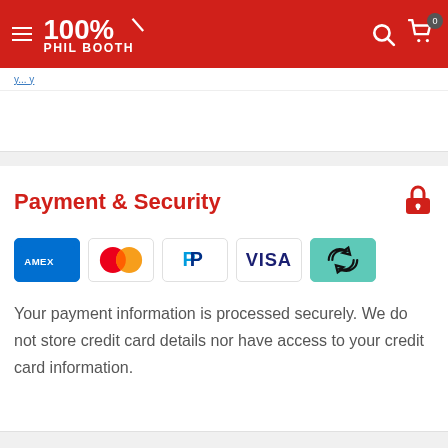[Figure (logo): 100% Phil Booth logo in white on red header background with hamburger menu, search icon, and cart icon with badge showing 0]
y...y
Payment & Security
[Figure (infographic): Payment method icons: American Express (AMEX), Mastercard, PayPal, Visa, and a teal icon with recycling/link arrows]
Your payment information is processed securely. We do not store credit card details nor have access to your credit card information.